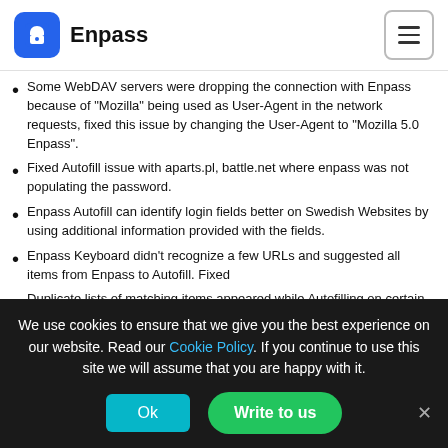Enpass
Some WebDAV servers were dropping the connection with Enpass because of "Mozilla" being used as User-Agent in the network requests, fixed this issue by changing the User-Agent to "Mozilla 5.0 Enpass".
Fixed Autofill issue with aparts.pl, battle.net where enpass was not populating the password.
Enpass Autofill can identify login fields better on Swedish Websites by using additional information provided with the fields.
Enpass Keyboard didn't recognize a few URLs and suggested all items from Enpass to Autofill. Fixed
Duplicate lists of matching items appeared while Autofilling on certain Apps. Fixed
We use cookies to ensure that we give you the best experience on our website. Read our Cookie Policy. If you continue to use this site we will assume that you are happy with it.